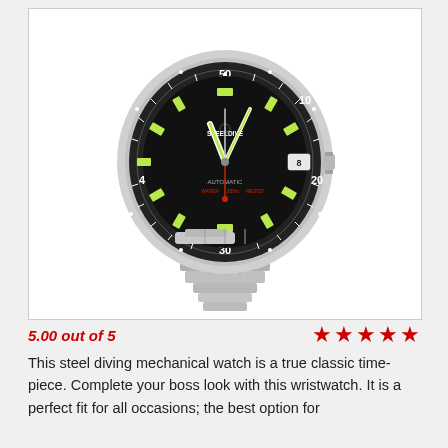[Figure (photo): A silver stainless steel diving mechanical watch (Steeldive brand) with a black bezel, black dial with luminous green hour markers, automatic movement, water resistant, date window, and a silver stainless steel bracelet. The bezel is marked with numbers 10, 20, 30, 40, 50.]
5.00 out of 5
This steel diving mechanical watch is a true classic timepiece. Complete your boss look with this wristwatch. It is a perfect fit for all occasions; the best option for